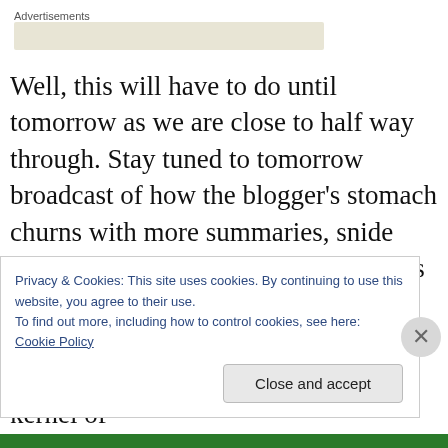Advertisements
[Figure (other): Advertisements placeholder bar (beige/tan colored rectangle)]
Well, this will have to do until tomorrow as we are close to half way through. Stay tuned to tomorrow broadcast of how the blogger's stomach churns with more summaries, snide remarks, guffaws, critiques, reminders of reality and Joe Biden worthy gaffs. Until then my loyal readers who brace the inanities for that rare but priceless kernel of
Privacy & Cookies: This site uses cookies. By continuing to use this website, you agree to their use.
To find out more, including how to control cookies, see here: Cookie Policy
Close and accept